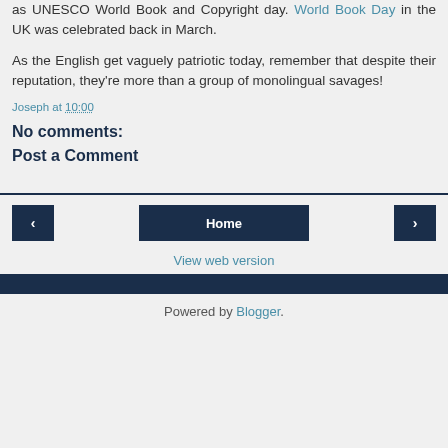as UNESCO World Book and Copyright day. World Book Day in the UK was celebrated back in March.
As the English get vaguely patriotic today, remember that despite their reputation, they're more than a group of monolingual savages!
Joseph at 10:00
No comments:
Post a Comment
Home | < | > | View web version | Powered by Blogger.